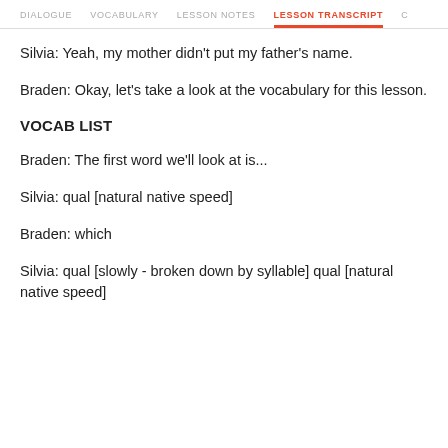DIALOGUE   VOCABULARY   LESSON NOTES   LESSON TRANSCRIPT   C
Silvia: Yeah, my mother didn't put my father's name.
Braden: Okay, let's take a look at the vocabulary for this lesson.
VOCAB LIST
Braden: The first word we'll look at is...
Silvia: qual [natural native speed]
Braden: which
Silvia: qual [slowly - broken down by syllable] qual [natural native speed]